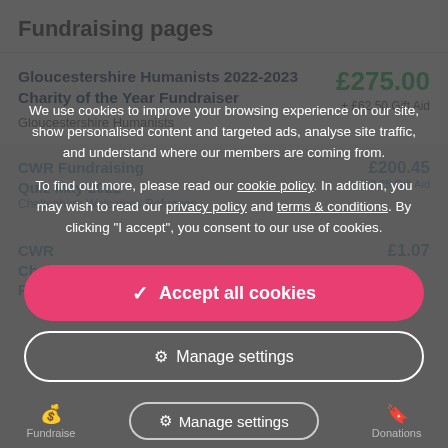Fundraising pages
Gloucestershire Humanists 2022-2023 Charity of the Year Fundraiser
Gloucestershire Humanists
£275.00
+ £62.50 Gift Aid
We use cookies to improve your browsing experience on our site, show personalised content and targeted ads, analyse site traffic, and understand where our members are coming from.

To find out more, please read our cookie policy. In addition, you may wish to read our privacy policy and terms & conditions. By clicking "I accept", you consent to our use of cookies.
✓ Accept all cookies
⚙ Manage settings